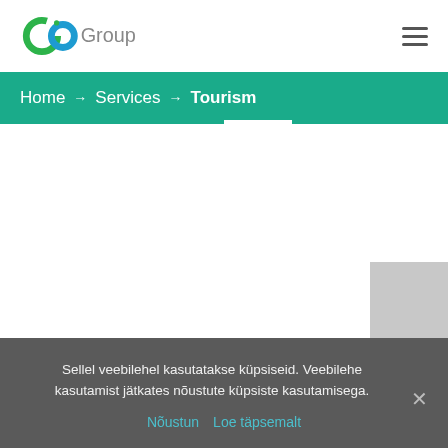[Figure (logo): GO Group logo with green and blue circular G icon and gray 'Group' text]
Home → Services → Tourism
Sellel veebilehel kasutatakse küpsiseid. Veebilehe kasutamist jätkates nõustute küpsiste kasutamisega.
Nõustun   Loe täpsemalt